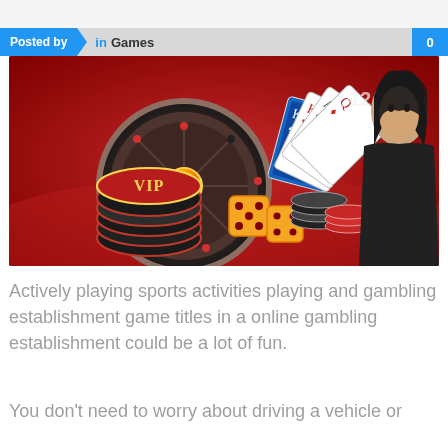Posted by   in Games   0
[Figure (photo): Casino themed image showing a roulette wheel, VIP poker chips, playing cards, dice, and a young woman in the background against a red backdrop.]
Actively playing sports activities playing and gambling establishment game titles in a online gambling establishment could be a lot of fun.
You don't need to worry about driving a vehicle or obtaining dressed up when you play slots online.